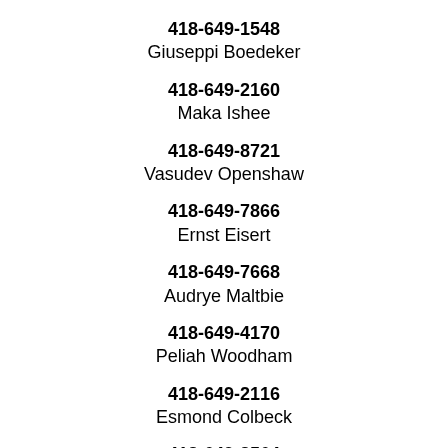418-649-1548
Giuseppi Boedeker
418-649-2160
Maka Ishee
418-649-8721
Vasudev Openshaw
418-649-7866
Ernst Eisert
418-649-7668
Audrye Maltbie
418-649-4170
Peliah Woodham
418-649-2116
Esmond Colbeck
418-649-2564
Madra Centola
418-649-0539